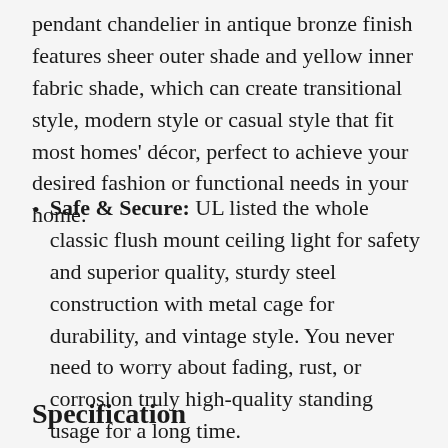pendant chandelier in antique bronze finish features sheer outer shade and yellow inner fabric shade, which can create transitional style, modern style or casual style that fit most homes' décor, perfect to achieve your desired fashion or functional needs in your home.
Safe & Secure: UL listed the whole classic flush mount ceiling light for safety and superior quality, sturdy steel construction with metal cage for durability, and vintage style. You never need to worry about fading, rust, or corrosion truly high-quality standing usage for a long time.
Specification